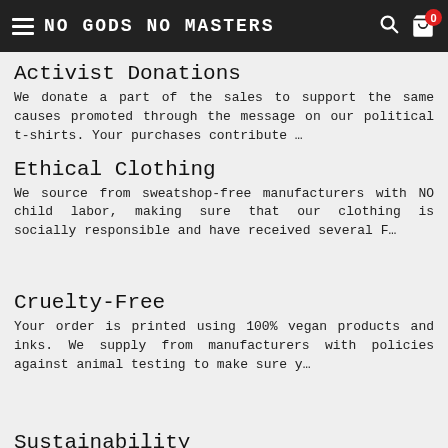NO GODS NO MASTERS
Activist Donations
We donate a part of the sales to support the same causes promoted through the message on our political t-shirts. Your purchases contribute …
Ethical Clothing
We source from sweatshop-free manufacturers with NO child labor, making sure that our clothing is socially responsible and have received several F…
Cruelty-Free
Your order is printed using 100% vegan products and inks. We supply from manufacturers with policies against animal testing to make sure y…
Sustainability
Our products are supplied by eco-friendly